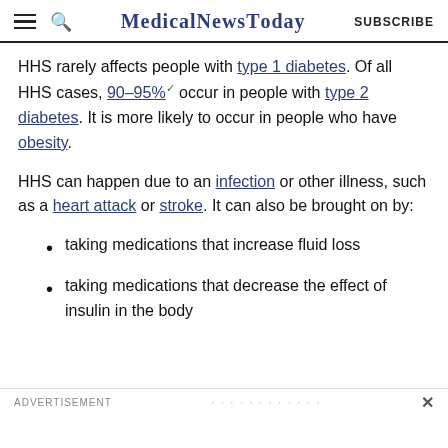MedicalNewsToday  SUBSCRIBE
HHS rarely affects people with type 1 diabetes. Of all HHS cases, 90–95% occur in people with type 2 diabetes. It is more likely to occur in people who have obesity.
HHS can happen due to an infection or other illness, such as a heart attack or stroke. It can also be brought on by:
taking medications that increase fluid loss
taking medications that decrease the effect of insulin in the body